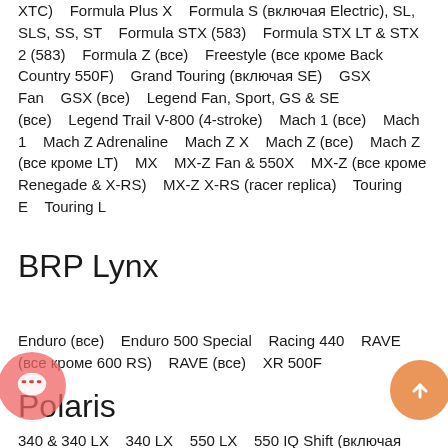XTC)    Formula Plus X    Formula S (включая Electric), SL, SLS, SS, ST    Formula STX (583)    Formula STX LT & STX 2 (583)    Formula Z (все)    Freestyle (все кроме Back Country 550F)    Grand Touring (включая SE)    GSX Fan    GSX (все)    Legend Fan, Sport, GS & SE (все)    Legend Trail V-800 (4-stroke)    Mach 1 (все)    Mach 1    Mach Z Adrenaline    Mach Z X    Mach Z (все)    Mach Z (все кроме LT)    MX    MX-Z Fan & 550X    MX-Z (все кроме Renegade & X-RS)    MX-Z X-RS (racer replica)    Touring E    Touring L
BRP Lynx
Enduro (все)    Enduro 500 Special    Racing 440    RAVE (все кроме 600 RS)    RAVE (все)    XR 500F
Polaris
340 & 340 LX    340 LX    550 LX    550 IQ Shift (включая ES)    600 Dragon IQ (включая SP)    600 HO IQ ( включая CFI)    600 IQ (включая ES)    600 IQ Shift (включая ES)    600 IQ